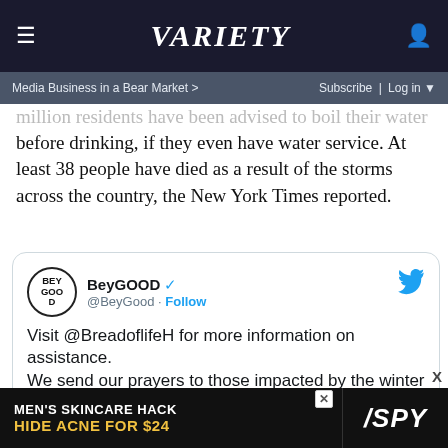≡  VARIETY  👤
Media Business in a Bear Market >    Subscribe | Log in ▼
million residents have been advised to boil their water before drinking, if they even have water service. At least 38 people have died as a result of the storms across the country, the New York Times reported.
[Figure (screenshot): Embedded tweet from @BeyGood with verified badge and Follow button. Tweet text: 'Visit @BreadoflifeH for more information on assistance. We send our prayers to those impacted by the winter storm.' Below tweet text is a dark image strip showing 'WINTER STORM' text.]
[Figure (infographic): Advertisement banner: MEN'S SKINCARE HACK - HIDE ACNE FOR $24 with SPY logo on black background]